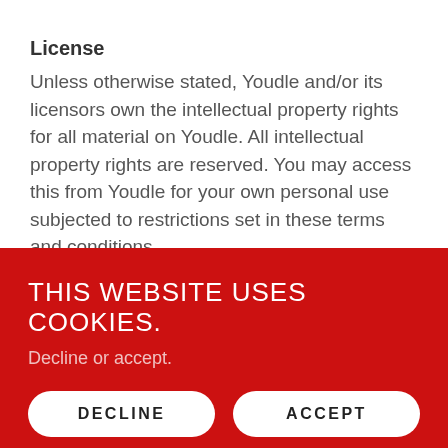License
Unless otherwise stated, Youdle and/or its licensors own the intellectual property rights for all material on Youdle. All intellectual property rights are reserved. You may access this from Youdle for your own personal use subjected to restrictions set in these terms and conditions.
THIS WEBSITE USES COOKIES.
Decline or accept.
DECLINE
ACCEPT